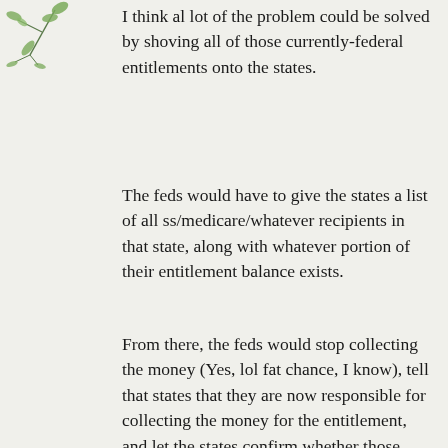[Figure (illustration): Decorative botanical illustration of leaves/branches in green, top-left corner]
I think al lot of the problem could be solved by shoving all of those currently-federal entitlements onto the states.
The feds would have to give the states a list of all ss/medicare/whatever recipients in that state, along with whatever portion of their entitlement balance exists.
From there, the feds would stop collecting the money (Yes, lol fat chance, I know), tell that states that they are now responsible for collecting the money for the entitlement, and let the states confirm whether those people actually exist, and whether they will continue to be supported in the